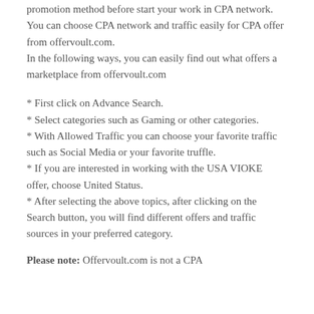promotion method before start your work in CPA network. You can choose CPA network and traffic easily for CPA offer from offervoult.com. In the following ways, you can easily find out what offers a marketplace from offervoult.com
* First click on Advance Search.
* Select categories such as Gaming or other categories.
* With Allowed Traffic you can choose your favorite traffic such as Social Media or your favorite truffle.
* If you are interested in working with the USA VIOKE offer, choose United Status.
* After selecting the above topics, after clicking on the Search button, you will find different offers and traffic sources in your preferred category.
Please note: Offervoult.com is not a CPA